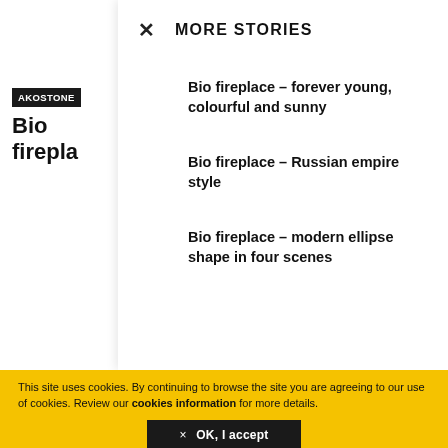AKOSTONE
Bio firepla
MORE STORIES
Bio fireplace – forever young, colourful and sunny
Bio fireplace – Russian empire style
Bio fireplace – modern ellipse shape in four scenes
This site uses cookies. By continuing to browse the site you are agreeing to our use of cookies. Review our cookies information for more details.
× OK, I accept